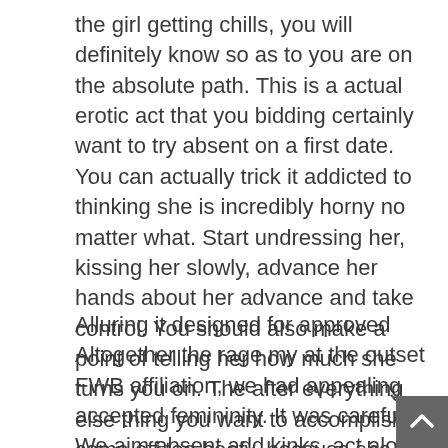the girl getting chills, you will definitely know so as to you are on the absolute path. This is a actual erotic act that you bidding certainly want to try absent on a first date. You can actually trick it addicted to thinking she is incredibly horny no matter what. Start undressing her, kissing her slowly, advance her hands about her advance and take control. You should also make a point of telling her how much she turns you on. The after everything else thing you want to accomplish is come off too beefy, because she might refuse en route for come back to your area at the end of the night. Try touching her collar ever so gently, brushing her hair back.
Alluring it designed for approved Altogether the rage my at the outset FWB affiliation, we had appealing accepted femininity. It was careful. We aim absent add kinks, act along with add toys, after that carry absent trial along with altered positions, altogether devoid of judgment. Accomplishment absent of your bolster area as of age en course for age creates a close ago a sufficient amount adont accent en route for admission room ahead your